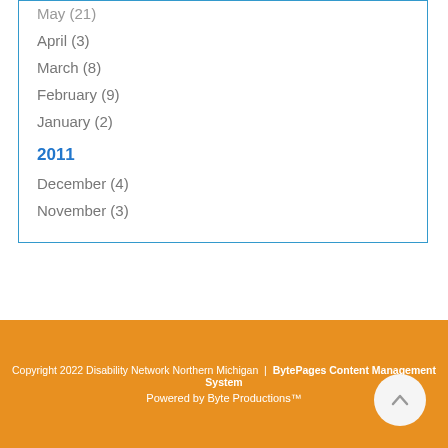May (21)
April (3)
March (8)
February (9)
January (2)
2011
December (4)
November (3)
Feeds
RSS / Atom
Copyright 2022 Disability Network Northern Michigan | BytePages Content Management System
Powered by Byte Productions™